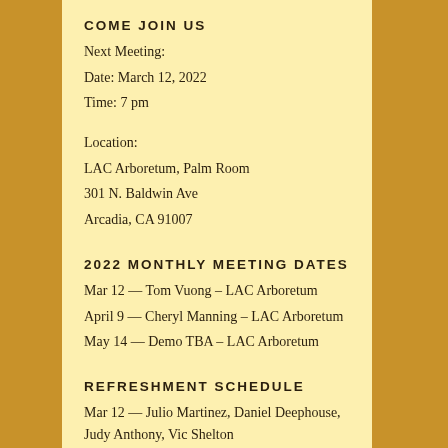COME JOIN US
Next Meeting:
Date: March 12, 2022
Time: 7 pm
Location:
LAC Arboretum, Palm Room
301 N. Baldwin Ave
Arcadia, CA 91007
2022 MONTHLY MEETING DATES
Mar 12 — Tom Vuong – LAC Arboretum
April 9 — Cheryl Manning – LAC Arboretum
May 14 — Demo TBA – LAC Arboretum
REFRESHMENT SCHEDULE
Mar 12 — Julio Martinez, Daniel Deephouse, Judy Anthony, Vic Shelton